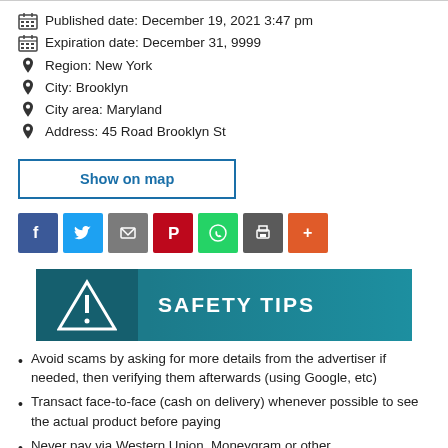Published date: December 19, 2021 3:47 pm
Expiration date: December 31, 9999
Region: New York
City: Brooklyn
City area: Maryland
Address: 45 Road Brooklyn St
Show on map
[Figure (infographic): Social sharing buttons: Facebook, Twitter, Email, Pinterest, WhatsApp, Print, More]
SAFETY TIPS
Avoid scams by asking for more details from the advertiser if needed, then verifying them afterwards (using Google, etc)
Transact face-to-face (cash on delivery) whenever possible to see the actual product before paying
Never pay via Western Union, Moneygram or other